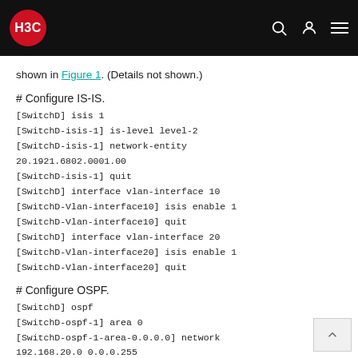H3C
shown in Figure 1. (Details not shown.)
# Configure IS-IS.
[SwitchD] isis 1
[SwitchD-isis-1] is-level level-2
[SwitchD-isis-1] network-entity
20.1921.6802.0001.00
[SwitchD-isis-1] quit
[SwitchD] interface vlan-interface 10
[SwitchD-Vlan-interface10] isis enable 1
[SwitchD-Vlan-interface10] quit
[SwitchD] interface vlan-interface 20
[SwitchD-Vlan-interface20] isis enable 1
[SwitchD-Vlan-interface20] quit
# Configure OSPF.
[SwitchD] ospf
[SwitchD-ospf-1] area 0
[SwitchD-ospf-1-area-0.0.0.0] network
192.168.20.0 0.0.0.255
[SwitchD-ospf-1-area-0.0.0.0] quit